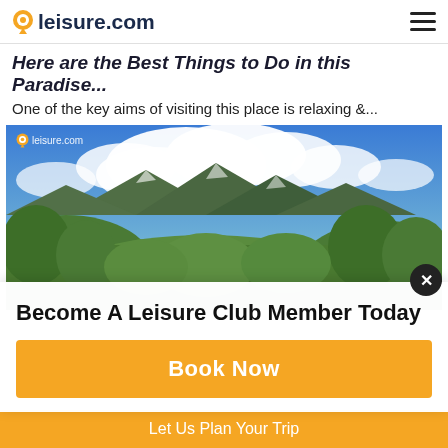leisure.com
Here are the Best Things to Do in this Paradise...
One of the key aims of visiting this place is relaxing &...
[Figure (photo): Panoramic landscape photograph of lush green mountains with clouds and blue sky, watermarked with leisure.com logo]
Become A Leisure Club Member Today
Book Now
Let Us Plan Your Trip